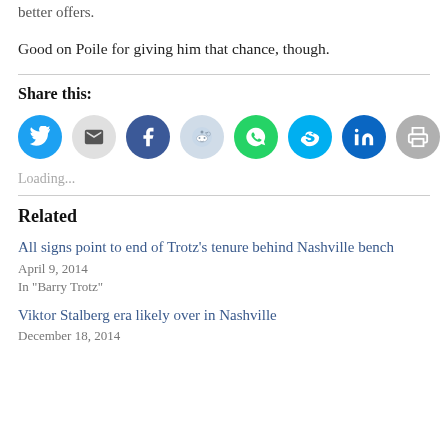better offers.
Good on Poile for giving him that chance, though.
Share this:
[Figure (infographic): Row of 8 circular social sharing icons: Twitter (blue), Email (light gray), Facebook (blue), Reddit (light blue/gray), WhatsApp (green), Skype (light blue), LinkedIn (dark blue), Print (gray)]
Loading...
Related
All signs point to end of Trotz's tenure behind Nashville bench
April 9, 2014
In "Barry Trotz"
Viktor Stalberg era likely over in Nashville
December 18, 2014